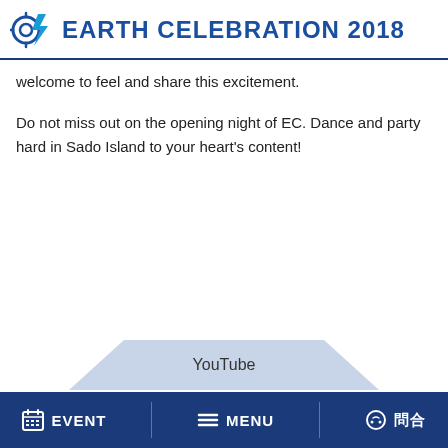EARTH CELEBRATION 2018
welcome to feel and share this excitement.
Do not miss out on the opening night of EC. Dance and party hard in Sado Island to your heart's content!
[Figure (screenshot): YouTube video embed placeholder with triangular decorative elements on left and right]
EVENT  MENU  問合